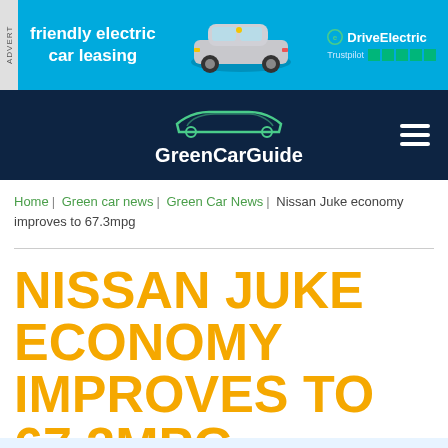[Figure (other): Advertisement banner for DriveElectric friendly electric car leasing, featuring a MINI electric car, DriveElectric logo, and Trustpilot 5-star rating on a blue background]
[Figure (logo): GreenCarGuide website header/logo on dark navy background with car silhouette outline and hamburger menu icon]
Home | Green car news | Green Car News | Nissan Juke economy improves to 67.3mpg
NISSAN JUKE ECONOMY IMPROVES TO 67.3MPG
20 JUN 2013